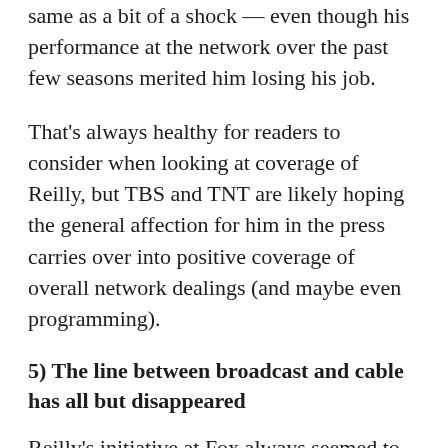same as a bit of a shock — even though his performance at the network over the past few seasons merited him losing his job.
That's always healthy for readers to consider when looking at coverage of Reilly, but TBS and TNT are likely hoping the general affection for him in the press carries over into positive coverage of overall network dealings (and maybe even programming).
5) The line between broadcast and cable has all but disappeared
Reilly's initiative at Fox always seemed to be about trying to bring cable business models to broadcast TV. That was all well and good, but those business models weren't particularly well-suited to advertiser-sponsored television, which is why his plan ultimately failed.